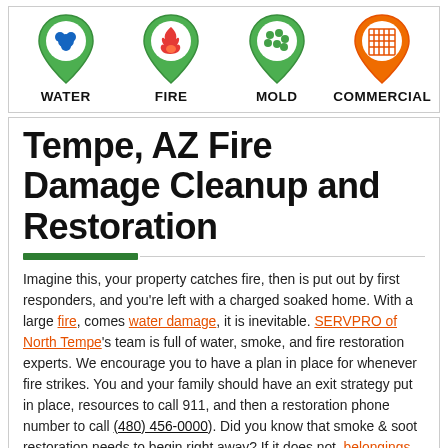[Figure (infographic): Four service category icons (green map pins with inner symbols) labeled WATER, FIRE, MOLD, COMMERCIAL arranged horizontally]
Tempe, AZ Fire Damage Cleanup and Restoration
Imagine this, your property catches fire, then is put out by first responders, and you're left with a charged soaked home. With a large fire, comes water damage, it is inevitable. SERVPRO of North Tempe's team is full of water, smoke, and fire restoration experts. We encourage you to have a plan in place for whenever fire strikes. You and your family should have an exit strategy put in place, resources to call 911, and then a restoration phone number to call (480) 456-0000). Did you know that smoke & soot restoration needs to begin right away? If it does not, belongings, floors, furniture, clothing, and keepsakes can all be damaged